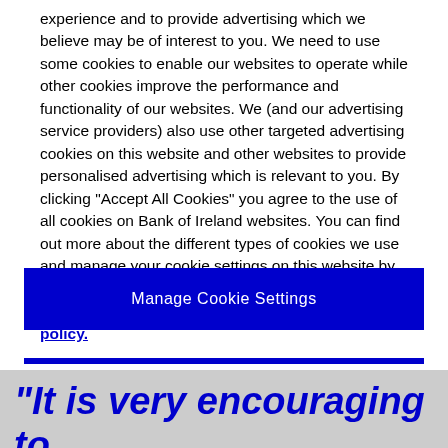experience and to provide advertising which we believe may be of interest to you. We need to use some cookies to enable our websites to operate while other cookies improve the performance and functionality of our websites. We (and our advertising service providers) also use other targeted advertising cookies on this website and other websites to provide personalised advertising which is relevant to you. By clicking "Accept All Cookies" you agree to the use of all cookies on Bank of Ireland websites. You can find out more about the different types of cookies we use and manage your cookie settings on this website by clicking "Manage Cookie Settings". To find out more about how we use cookies please read our cookies policy.
Manage Cookie Settings
“It is very encouraging to...